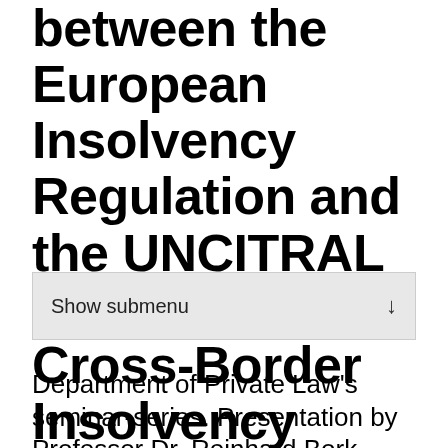between the European Insolvency Regulation and the UNCITRAL Model Law on Cross-Border Insolvency
Show submenu
Department of Private Law's seminar-series. Presentation by Professor Dr. Reinhard Bork